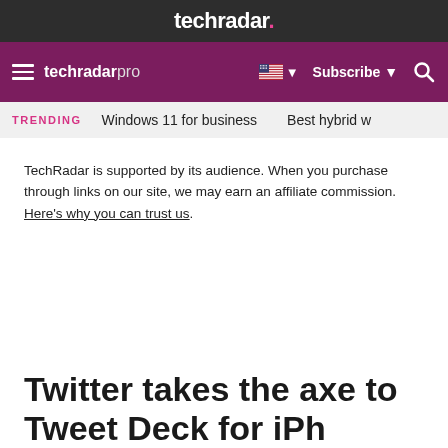techradar.
techradar pro | Subscribe
TRENDING  Windows 11 for business  Best hybrid w
TechRadar is supported by its audience. When you purchase through links on our site, we may earn an affiliate commission. Here's why you can trust us.
Twitter takes the axe to Tweet Deck for iPh